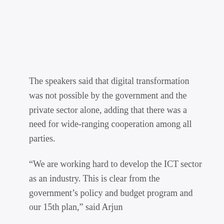The speakers said that digital transformation was not possible by the government and the private sector alone, adding that there was a need for wide-ranging cooperation among all parties.
“We are working hard to develop the ICT sector as an industry. This is clear from the government’s policy and budget program and our 15th plan,” said Arjun